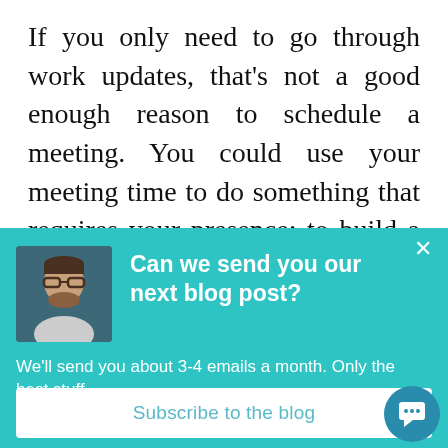If you only need to go through work updates, that's not a good enough reason to schedule a meeting. You could use your meeting time to do something that requires your presence: to build a stronger relationship with your
[Figure (screenshot): Teal popup overlay with a person's photo, bold white heading 'Can we send you our next blog post?', body text 'We'll send you about 3-4 emails a month. Only the best stuff.', a white Subscribe to the blog button, and a close X button.]